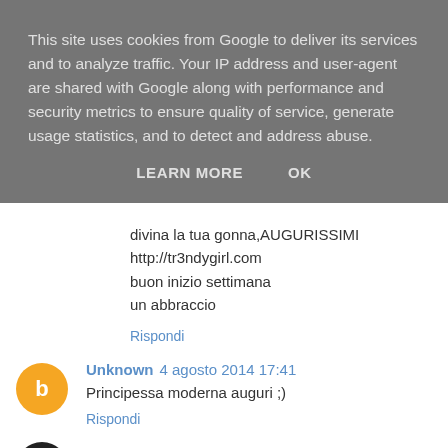This site uses cookies from Google to deliver its services and to analyze traffic. Your IP address and user-agent are shared with Google along with performance and security metrics to ensure quality of service, generate usage statistics, and to detect and address abuse.
LEARN MORE   OK
divina la tua gonna,AUGURISSIMI
http://tr3ndygirl.com
buon inizio settimana
un abbraccio
Rispondi
Unknown 4 agosto 2014 17:41
Principessa moderna auguri ;)
Rispondi